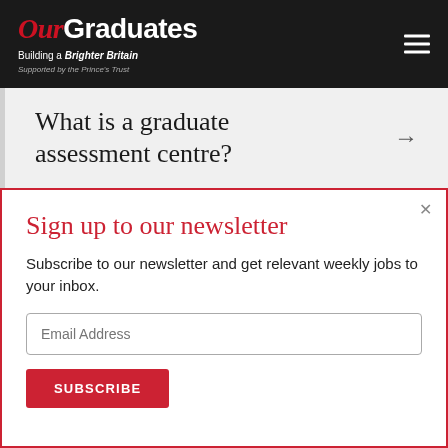Our Graduates — Building a Brighter Britain — Supported by the Prince's Trust
What is a graduate assessment centre?
Sign up to our newsletter
Subscribe to our newsletter and get relevant weekly jobs to your inbox.
Email Address
SUBSCRIBE